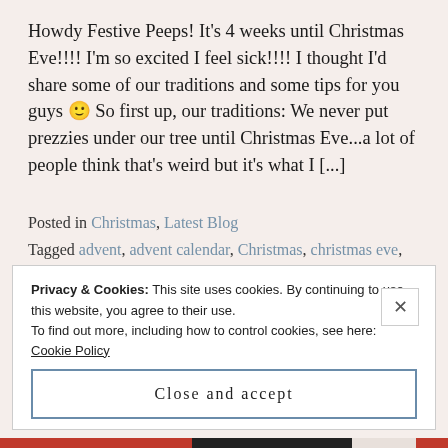Howdy Festive Peeps! It's 4 weeks until Christmas Eve!!!! I'm so excited I feel sick!!!! I thought I'd share some of our traditions and some tips for you guys 🙂 So first up, our traditions: We never put prezzies under our tree until Christmas Eve...a lot of people think that's weird but it's what I [...]
Posted in Christmas, Latest Blog
Tagged advent, advent calendar, Christmas, christmas eve, family, gift ideas, santa, traditions, wrapping
Privacy & Cookies: This site uses cookies. By continuing to use this website, you agree to their use.
To find out more, including how to control cookies, see here: Cookie Policy
Close and accept